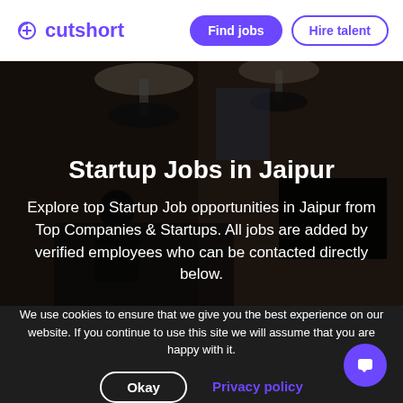cutshort | Find jobs | Hire talent
Startup Jobs in Jaipur
Explore top Startup Job opportunities in Jaipur from Top Companies & Startups. All jobs are added by verified employees who can be contacted directly below.
We use cookies to ensure that we give you the best experience on our website. If you continue to use this site we will assume that you are happy with it.
Okay
Privacy policy